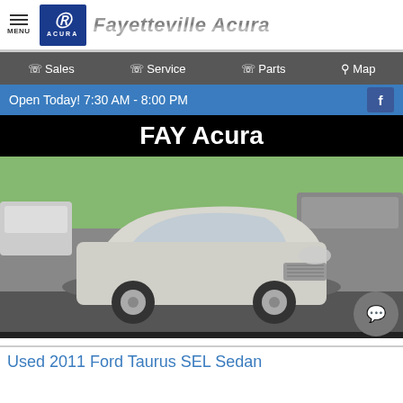MENU | Fayetteville Acura
Sales  Service  Parts  Map
Open Today! 7:30 AM - 8:00 PM
[Figure (photo): FAY Acura dealership banner over a photo of a silver Ford Taurus sedan in a parking lot]
Used 2011 Ford Taurus SEL Sedan